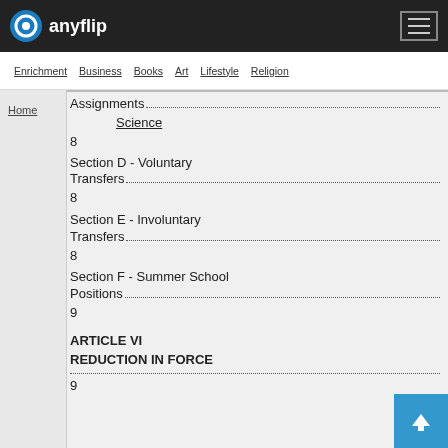anyflip
Enrichment | Business | Books | Art | Lifestyle | Religion
Home
Assignments....8
Science
Section D - Voluntary Transfers....8
Section E - Involuntary Transfers....8
Section F - Summer School Positions....9
ARTICLE VI
REDUCTION IN FORCE
....9